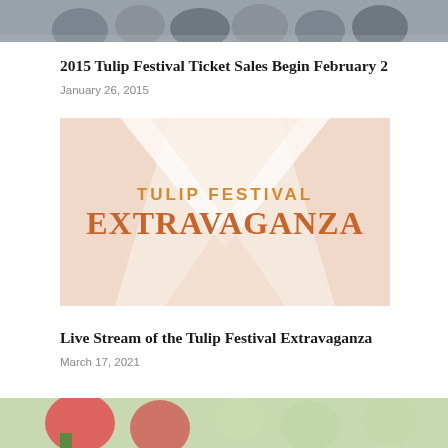[Figure (photo): Partial cropped photo of people/crowd at top of page]
2015 Tulip Festival Ticket Sales Begin February 2
January 26, 2015
[Figure (illustration): Tulip Festival Extravaganza banner with orange/peach geometric triangle design and text reading TULIP FESTIVAL EXTRAVAGANZA]
Live Stream of the Tulip Festival Extravaganza
March 17, 2021
[Figure (photo): Partial cropped photo of red tulips at bottom of page]